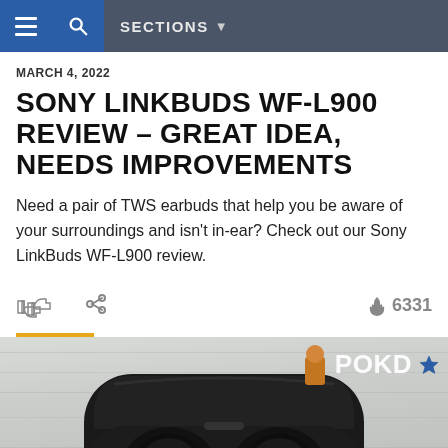SECTIONS
MARCH 4, 2022
SONY LINKBUDS WF-L900 REVIEW – GREAT IDEA, NEEDS IMPROVEMENTS
Need a pair of TWS earbuds that help you be aware of your surroundings and isn't in-ear? Check out our Sony LinkBuds WF-L900 review.
6331
[Figure (photo): Sony LinkBuds WF-L900 earbuds in their open charging case, placed on a light wood surface. Pokde.net watermark with star logo visible in top right corner of photo.]